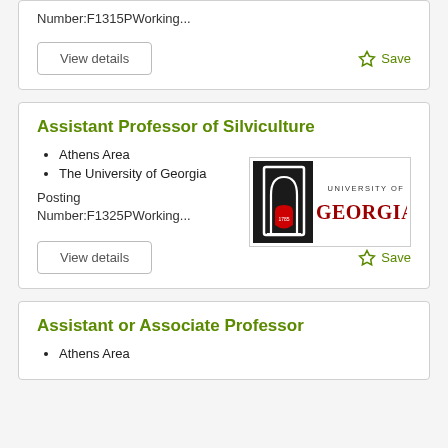Number:F1315PWorking...
View details
Save
Assistant Professor of Silviculture
Athens Area
The University of Georgia
[Figure (logo): University of Georgia logo with arch icon and text UNIVERSITY OF GEORGIA]
Posting Number:F1325PWorking...
View details
Save
Assistant or Associate Professor
Athens Area